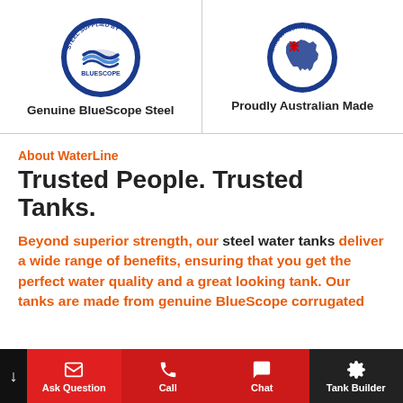[Figure (logo): BlueScope Steel circular badge logo — blue circle with 'STEEL SUPPLIED BY' text around edge and BlueScope logo in center]
Genuine BlueScope Steel
[Figure (logo): Made in Australia badge — circular badge with Australian flag map and 'MADE IN AUSTRALIA' text around the edge]
Proudly Australian Made
About WaterLine
Trusted People. Trusted Tanks.
Beyond superior strength, our steel water tanks deliver a wide range of benefits, ensuring that you get the perfect water quality and a great looking tank. Our tanks are made from genuine BlueScope corrugated
Ask Question | Call | Chat | Tank Builder